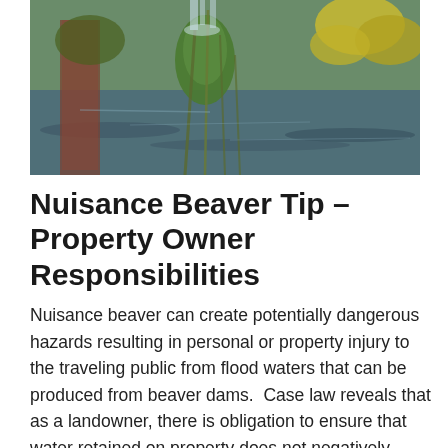[Figure (photo): Outdoor nature photograph showing water (pond or river) reflecting surroundings, with green leafy plants and tall grasses/reeds in the foreground, likely depicting a beaver habitat or wetland area.]
Nuisance Beaver Tip – Property Owner Responsibilities
Nuisance beaver can create potentially dangerous hazards resulting in personal or property injury to the traveling public from flood waters that can be produced from beaver dams.  Case law reveals that as a landowner, there is obligation to ensure that water retained on property does not negatively impact adjacent properties and land, which includes public roadways.  The Municipality respectfully requests